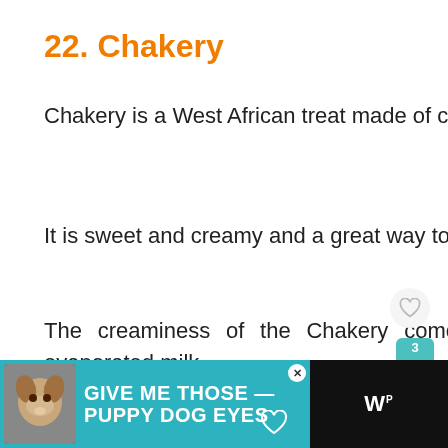22. Chakery
Chakery is a West African treat made of couscous.
It is sweet and creamy and a great way to end a fulfilling meal.
The creaminess of the Chakery comes from sour cream, vanilla yogurt, and evaporated milk.
[Figure (other): Advertisement banner: teal background with dog photo and text 'GIVE ME THOSE PUPPY DOG EYES']